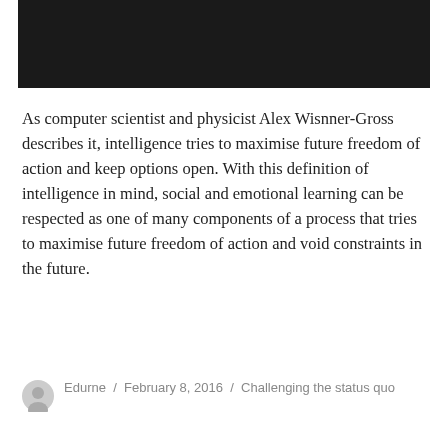[Figure (photo): Black rectangular image banner at the top of the page]
As computer scientist and physicist Alex Wisnner-Gross describes it, intelligence tries to maximise future freedom of action and keep options open. With this definition of intelligence in mind, social and emotional learning can be respected as one of many components of a process that tries to maximise future freedom of action and void constraints in the future.
Edurne / February 8, 2016 / Challenging the status quo